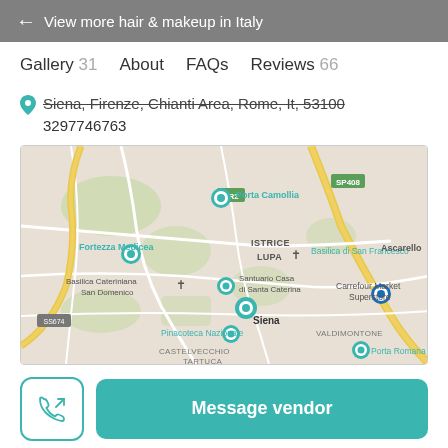← View more hair & makeup in Italy
Gallery 31   About   FAQs   Reviews 66
Siena, Firenze, Chianti Area, Rome, It, 53100
3297746763
[Figure (map): Google Maps view of Siena, Italy showing landmarks including Porta Camollia, Fortezza Medicea, ISTRICE, LUPA, Basilica di San Francesco, Ascarello, Basilica Cateriniana San Domenico, Santuario Casa di Santa Caterina, Siena, Carrefour Market Superstore, Pinacoteca Nazionale, CASTELVECCHIO, TARTUCA, VALDIMONTONE, Porta Romana, road labels SR2 and SP408]
Message vendor